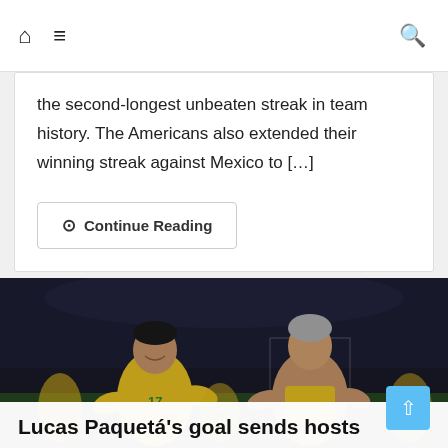Home | Menu | Search
the second-longest unbeaten streak in team history. The Americans also extended their winning streak against Mexico to […]
Continue Reading
[Figure (photo): Two Brazil national football team players wearing yellow jerseys celebrating on a football pitch. Player on left wears number 17.]
Lucas Paquetá's goal sends hosts